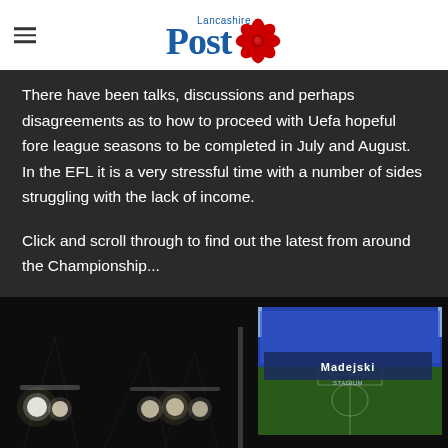Lancashire Post
There have been talks, discussions and perhaps disagreements as to how to proceed with Uefa hopeful fore league seasons to be completed in July and August. In the EFL it is a very stressful time with a number of sides struggling with the lack of income.
Click and scroll through to find out the latest from around the Championship...
[Figure (photo): Dark stadium photo at night with stage lights on left side and a lit stadium (Madejski Stadium) shown on the right side inset]